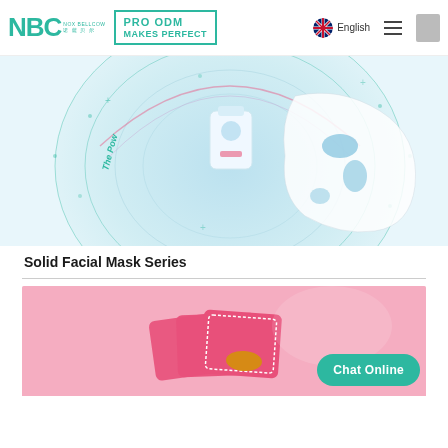NBC PRO ODM MAKES PERFECT | 诺 薩 贝 尔 | English
[Figure (illustration): Hero banner showing a skincare facial mask product with circular blue/teal gradient design and concentric rings, face mask fabric, and text 'The Pow...' on the left side]
Solid Facial Mask Series
[Figure (photo): Product photo showing pink packaged facial mask products against a pink background]
Chat Online